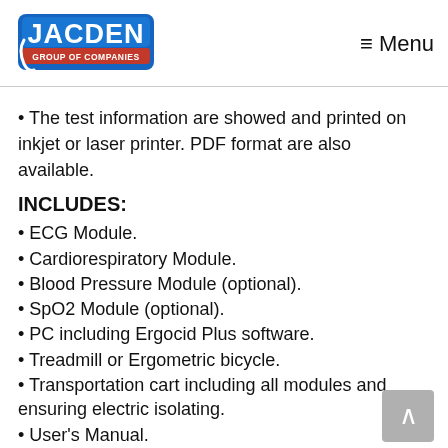[Figure (logo): Jacden Group of Companies logo — blue stylized text with red banner]
The test information are showed and printed on inkjet or laser printer. PDF format are also available.
INCLUDES:
ECG Module.
Cardiorespiratory Module.
Blood Pressure Module (optional).
SpO2 Module (optional).
PC including Ergocid Plus software.
Treadmill or Ergometric bicycle.
Transportation cart including all modules and ensuring electric isolating.
User's Manual.
CD or USB memory with Installation